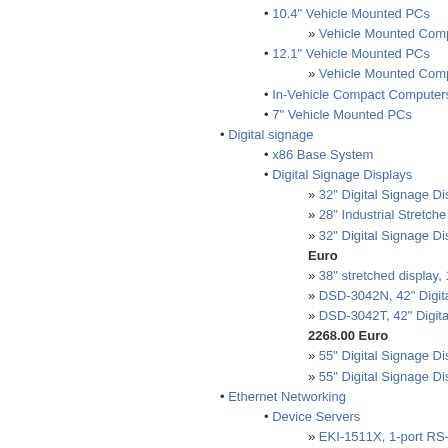10.4" Vehicle Mounted PCs
Vehicle Mounted Comp...
12.1" Vehicle Mounted PCs
Vehicle Mounted Comp...
In-Vehicle Compact Computers
7" Vehicle Mounted PCs
Digital signage
x86 Base System
Digital Signage Displays
32" Digital Signage Dis...
28" Industrial Stretche...
32" Digital Signage Dis... Euro
38" stretched display, 1...
DSD-3042N, 42" Digita...
DSD-3042T, 42" Digita... 2268.00 Euro
55" Digital Signage Dis...
55" Digital Signage Dis...
Ethernet Networking
Device Servers
EKI-1511X, 1-port RS-...
ADAM-4571L 1-port RS...
EKI-1512X, 2-port RS-...